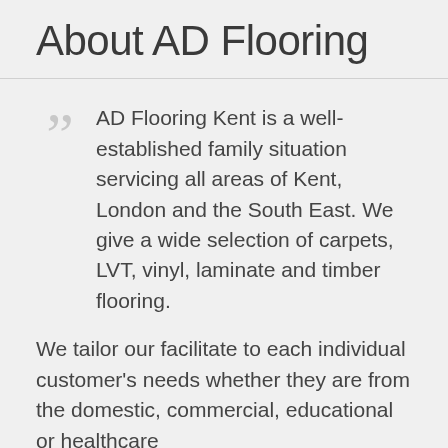About AD Flooring
AD Flooring Kent is a well-established family situation servicing all areas of Kent, London and the South East. We give a wide selection of carpets, LVT, vinyl, laminate and timber flooring.
We tailor our facilitate to each individual customer's needs whether they are from the domestic, commercial, educational or healthcare